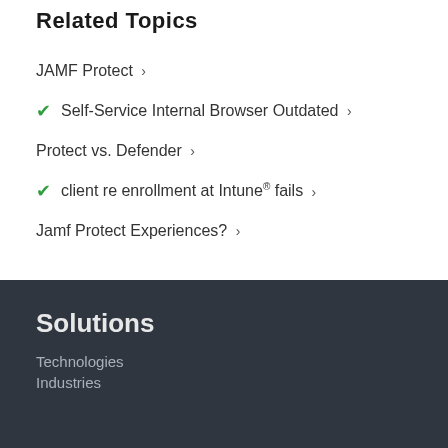Related Topics
JAMF Protect ›
✔ Self-Service Internal Browser Outdated ›
Protect vs. Defender ›
✔ client re enrollment at Intune® fails ›
Jamf Protect Experiences? ›
Solutions
Technologies
Industries